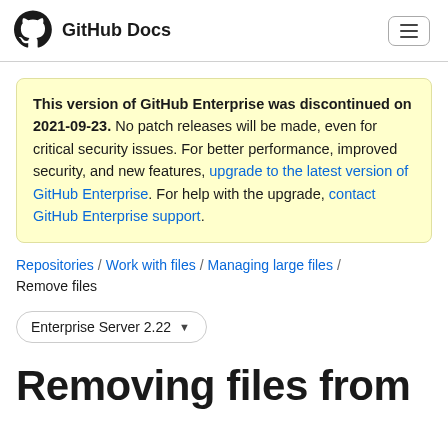GitHub Docs
This version of GitHub Enterprise was discontinued on 2021-09-23. No patch releases will be made, even for critical security issues. For better performance, improved security, and new features, upgrade to the latest version of GitHub Enterprise. For help with the upgrade, contact GitHub Enterprise support.
Repositories / Work with files / Managing large files / Remove files
Enterprise Server 2.22
Removing files from